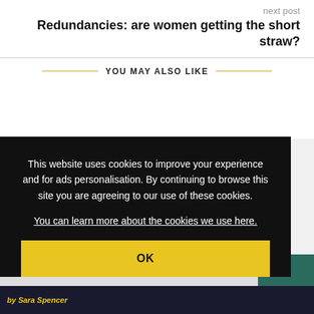next post
Redundancies: are women getting the short straw?
YOU MAY ALSO LIKE
This website uses cookies to improve your experience and for ads personalisation. By continuing to browse this site you are agreeing to our use of these cookies.
You can learn more about the cookies we use here.
OK